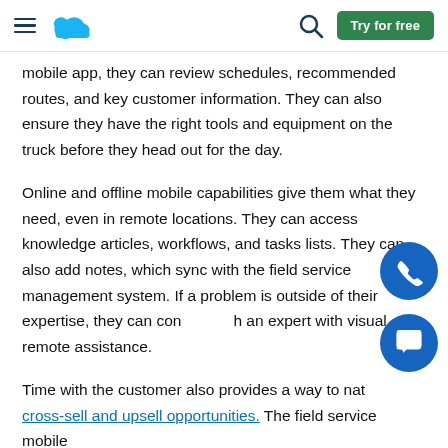Try for free
mobile app, they can review schedules, recommended routes, and key customer information. They can also ensure they have the right tools and equipment on the truck before they head out for the day.
Online and offline mobile capabilities give them what they need, even in remote locations. They can access knowledge articles, workflows, and tasks lists. They can also add notes, which sync with the field service management system. If a problem is outside of their expertise, they can connect an expert with visual remote assistance.
Time with the customer also provides a way to naturally identify cross-sell and upsell opportunities. The field service mobile